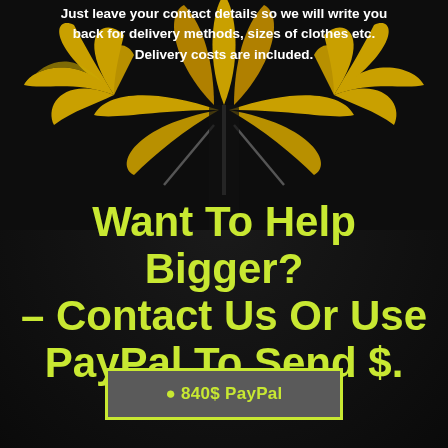Just leave your contact details so we will write you back for delivery methods, sizes of clothes etc. Delivery costs are included.
[Figure (illustration): Yellow cannabis leaf illustration on dark background]
Want To Help Bigger? – Contact Us Or Use PayPal To Send $.
840$ PayPal
420$ PayPal